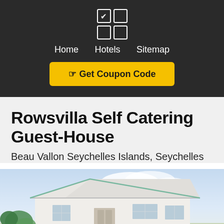Home  Hotels  Sitemap
Get Coupon Code
Rowsvilla Self Catering Guest-House
Beau Vallon Seychelles Islands, Seychelles
[Figure (photo): Exterior photo of a white single-story guest house building with a distinctive peaked roof, green trim, under a partly cloudy sky with tropical vegetation visible on the left.]